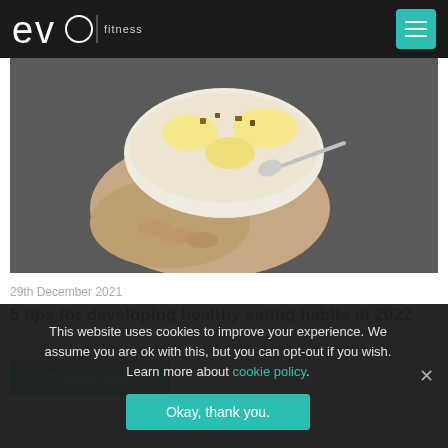evo fitness evolved
[Figure (photo): Close-up of a person's hands holding a white bowl of granola with banana slices and a spoon, over dark clothing]
29th December 2021
5 tips for developing healthy eating habits in 2022
Read more
This website uses cookies to improve your experience. We assume you are ok with this, but you can opt-out if you wish. Learn more about cookie policy.
Okay, thank you.